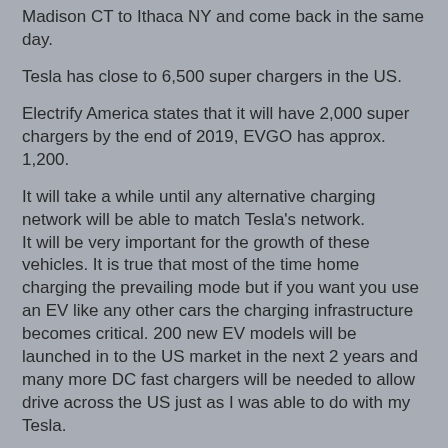Madison CT to Ithaca NY and come back in the same day.
Tesla has close to 6,500 super chargers in the US.
Electrify America states that it will have 2,000 super chargers by the end of 2019, EVGO has approx. 1,200.
It will take a while until any alternative charging network will be able to match Tesla’s network.
It will be very important for the growth of these vehicles. It is true that most of the time home charging the prevailing mode but if you want you use an EV like any other cars the charging infrastructure becomes critical. 200 new EV models will be launched in to the US market in the next 2 years and many more DC fast chargers will be needed to allow drive across the US just as I was able to do with my Tesla.
Verdek is Nationwide provider of EV charging infrastructure with offices in CT, CO, TX, AZ and CA.
Tesla Middletown NY
https://www.google.com/maps/place/Tesla+Supercharger/@